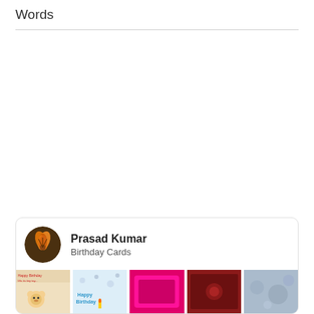Words
[Figure (screenshot): Pinterest board card for 'Prasad Kumar' showing 'Birthday Cards' board with avatar thumbnail image of a flower/orange lily, and a row of 5 birthday card photo thumbnails at the bottom]
Prasad Kumar
Birthday Cards